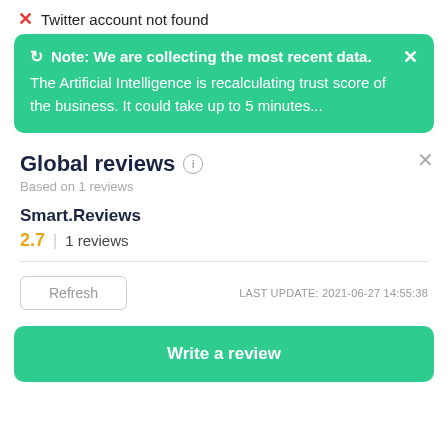Twitter account not found
Note: We are collecting the most recent data. The Artificial Intelligence is recalculating trust score of the business. It could take up to 5 minutes...
Global reviews
Based on 1 reviews
Smart.Reviews
2.7 | 1 reviews
Refresh   LAST UPDATE: 2021-06-27 14:55:38
Write a review